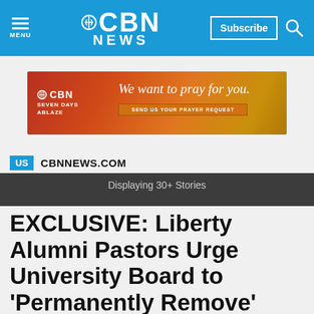CBN NEWS
[Figure (infographic): CBN Seven Days Ablaze advertisement banner: orange-red gradient background with autumn leaves, text 'We want to pray for you. SEND US YOUR PRAYER REQUEST']
US  CBNNEWS.COM
Displaying 30+ Stories
EXCLUSIVE: Liberty Alumni Pastors Urge University Board to 'Permanently Remove' Jerry Falwell Jr. as President